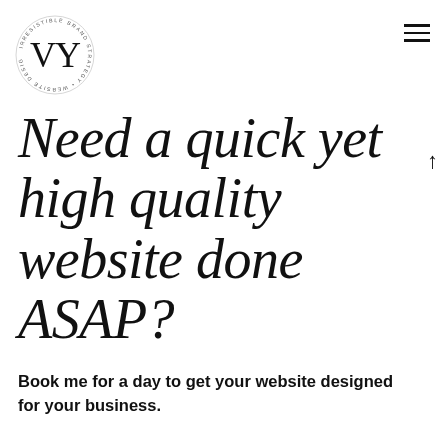[Figure (logo): Circular logo with large initials VY in the center and text around the circle reading: IRRESISTIBLE BRAND STRATEGY • WEBSITE DESIGN FOR WEDDING PLANNERS /]
Need a quick yet high quality website done ASAP?
Book me for a day to get your website designed for your business.